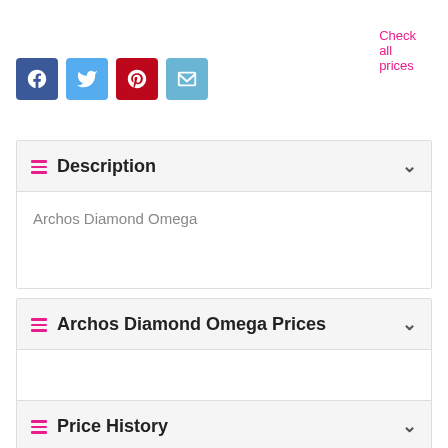Check all prices
[Figure (screenshot): Social share buttons: Facebook, Twitter, Pinterest, Email]
Description
Archos Diamond Omega
Archos Diamond Omega Prices
Price History